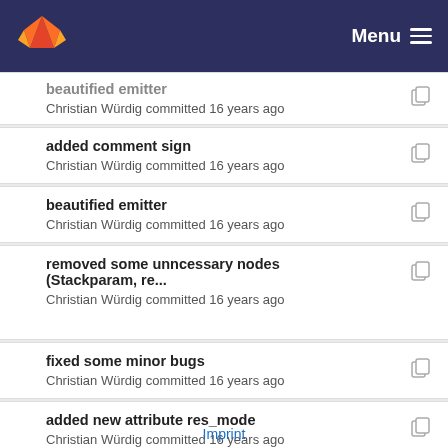GitLab — Menu
beautified emitter
Christian Würdig committed 16 years ago
added comment sign
Christian Würdig committed 16 years ago
beautified emitter
Christian Würdig committed 16 years ago
removed some unncessary nodes (Stackparam, re...
Christian Würdig committed 16 years ago
fixed some minor bugs
Christian Würdig committed 16 years ago
added new attribute res_mode
Christian Würdig committed 16 years ago
Imprint